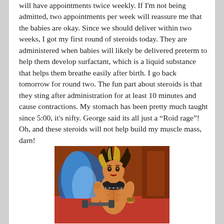will have appointments twice weekly. If I'm not being admitted, two appointments per week will reassure me that the babies are okay. Since we should deliver within two weeks, I got my first round of steroids today. They are administered when babies will likely be delivered preterm to help them develop surfactant, which is a liquid substance that helps them breathe easily after birth. I go back tomorrow for round two. The fun part about steroids is that they sting after administration for at least 10 minutes and cause contractions. My stomach has been pretty much taught since 5:00, it's nifty. George said its all just a "Roid rage"! Oh, and these steroids will not help build my muscle mass, darn!
[Figure (illustration): Cartoon illustration of a muscular woman with wild hair holding a dumbbell, wearing a black top, with blue flames and red background]